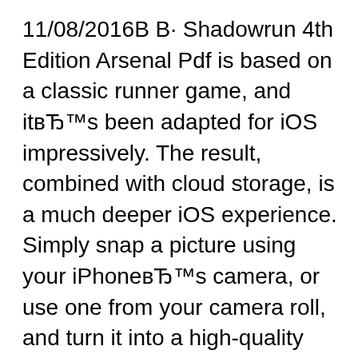11/08/2016В В· Shadowrun 4th Edition Arsenal Pdf is based on a classic runner game, and itвЂ™s been adapted for iOS impressively. The result, combined with cloud storage, is a much deeper iOS experience. Simply snap a picture using your iPhoneвЂ™s camera, or use one from your camera roll, and turn it into a high-quality print using the numerous editing and effects tools. While there was no native вЂ¦ Shadowrun, Twentieth Anniversary Edition, and all character and rules information refers to the fourth edition of the Shadowrun rules. aDVentUre strUCtUre SRM 04-00 BACK IN BUSINESS consists of several scenes. Th ese scenes form the basis of the adventure and help the